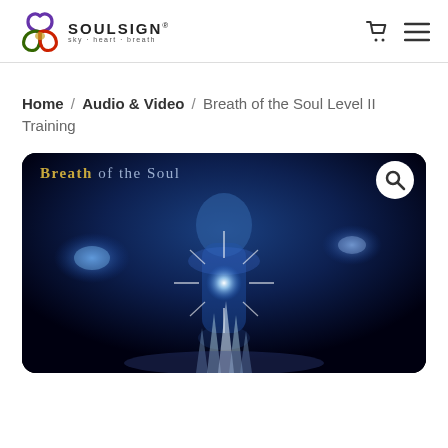SOULSIGN® sky · heart · breath
Home / Audio & Video / Breath of the Soul Level II Training
[Figure (illustration): Product cover image for 'Breath of the Soul' - a dark blue mystical illustration showing a glowing human silhouette with energy orbs and crystal spires, with the title 'Breath of the Soul' in gold and light text, and a search magnifier icon overlay in top-right.]